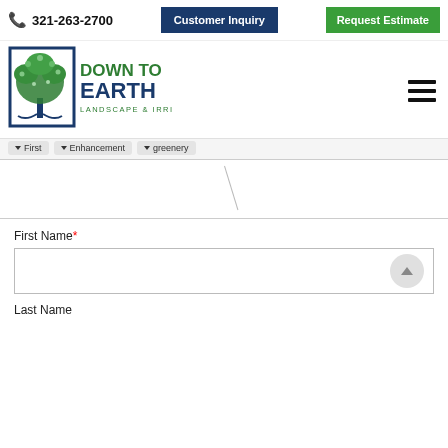321-263-2700 | Customer Inquiry | Request Estimate
[Figure (logo): Down To Earth Landscape & Irrigation logo with tree inside blue square border]
First | Enhancement | greenery (navigation pills)
First Name*
Last Name